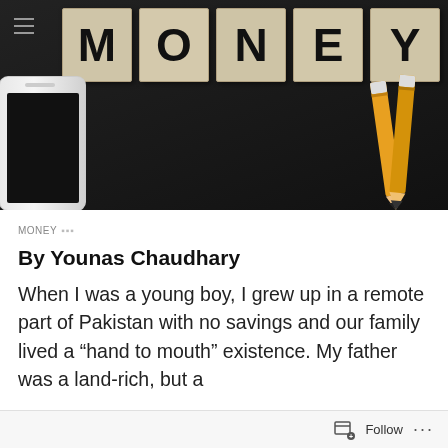[Figure (photo): Dark chalkboard background with wooden letter tiles spelling MONEY, a smartphone on the left and two pencils on the right]
MONEY ▪▪▪
By Younas Chaudhary
When I was a young boy, I grew up in a remote part of Pakistan with no savings and our family lived a “hand to mouth” existence. My father was a land-rich, but a
Follow ...